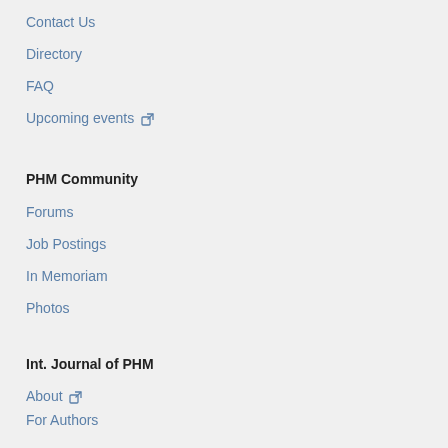Contact Us
Directory
FAQ
Upcoming events
PHM Community
Forums
Job Postings
In Memoriam
Photos
Int. Journal of PHM
About
For Authors
Submit
Archives